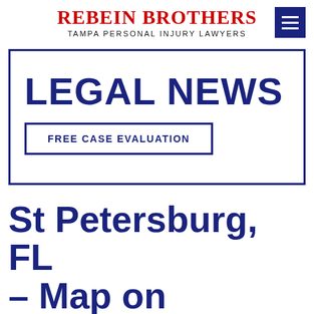Rebein Brothers
TAMPA PERSONAL INJURY LAWYERS
LEGAL NEWS
FREE CASE EVALUATION
St Petersburg, FL – Map on